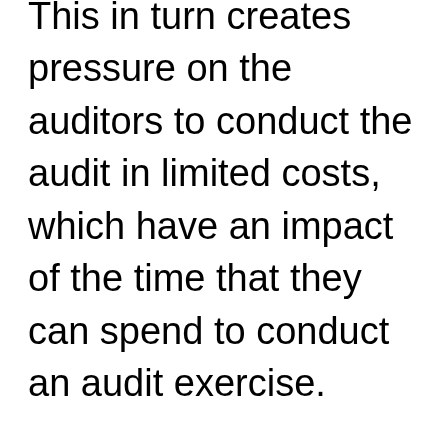This in turn creates pressure on the auditors to conduct the audit in limited costs, which have an impact of the time that they can spend to conduct an audit exercise.
In Tri-sure India Ltd. vs